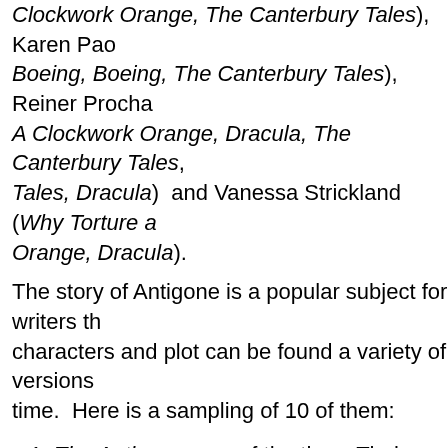Clockwork Orange, Dracula), Ashley Hall (Boeing, Boeing, A Clockwork Orange, The Canterbury Tales), Karen Pao (Boeing, Boeing, The Canterbury Tales), Reiner Procha (A Clockwork Orange, Dracula, The Canterbury Tales), Tales, Dracula) and Vanessa Strickland (Why Torture a Orange, Dracula).
The story of Antigone is a popular subject for writers th characters and plot can be found a variety of versions time. Here is a sampling of 10 of them:
The Antigone, one of the three Theban plays by S BC) – The most famous adaptation
Antigone, play by Jean Cocteau (1889–1963)
"Antigone-Legend", for soprano and piano (text by Rzewski (b. 1938)
1946 – Jean Anouilh, (modern French translation)
"The Island", play by Athol Fugard (b. 1932) Set a